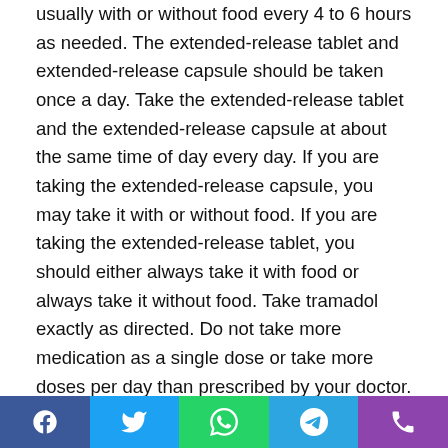usually with or without food every 4 to 6 hours as needed. The extended-release tablet and extended-release capsule should be taken once a day. Take the extended-release tablet and the extended-release capsule at about the same time of day every day. If you are taking the extended-release capsule, you may take it with or without food. If you are taking the extended-release tablet, you should either always take it with food or always take it without food. Take tramadol exactly as directed. Do not take more medication as a single dose or take more doses per day than prescribed by your doctor. Taking more tramadol than prescribed by your doctor or in a way that is not recommended may cause serious side effects or death.

Your doctor may start you on a low dose of tramadol
[Figure (infographic): Social sharing bar with Facebook, Twitter, WhatsApp, Telegram, and Phone icons]